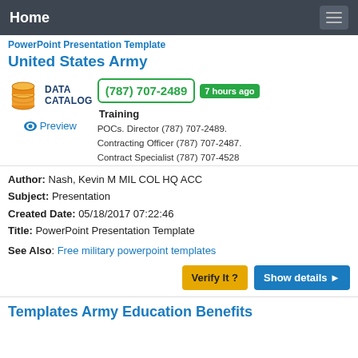Home
PowerPoint Presentation Template United States Army
[Figure (logo): Data Catalog logo with orange database icon and blue text]
(787) 707-2489
7 hours ago Training
POCs. Director (787) 707-2489. Contracting Officer (787) 707-2487. Contract Specialist (787) 707-4528
Preview
Author: Nash, Kevin M MIL COL HQ ACC
Subject: Presentation
Created Date: 05/18/2017 07:22:46
Title: PowerPoint Presentation Template
See Also: Free military powerpoint templates
Verify It ?  Show details ▶
Templates Army Education Benefits